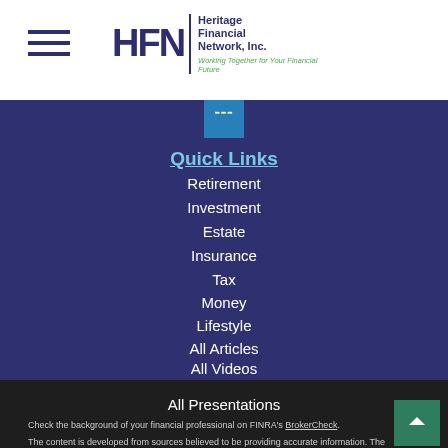HFN Heritage Financial Network, Inc. — Working Together for Your Financial Future
[Figure (logo): LinkedIn icon — teal square with bars symbol]
Quick Links
Retirement
Investment
Estate
Insurance
Tax
Money
Lifestyle
All Articles
All Videos
All Calculators
All Presentations
Check the background of your financial professional on FINRA's BrokerCheck.
The content is developed from sources believed to be providing accurate information. The information in this material is not intended as tax or legal advice. Please consult legal or tax professionals for specific information regarding your